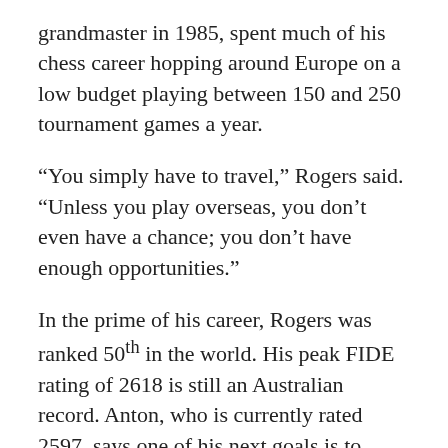grandmaster in 1985, spent much of his chess career hopping around Europe on a low budget playing between 150 and 250 tournament games a year.
“You simply have to travel,” Rogers said. “Unless you play overseas, you don’t even have a chance; you don’t have enough opportunities.”
In the prime of his career, Rogers was ranked 50th in the world. His peak FIDE rating of 2618 is still an Australian record. Anton, who is currently rated 2597, says one of his next goals is to reach a rating of 2650. FIDE ratings are calculated through a series of complex mathematical equations that add or subtract to a